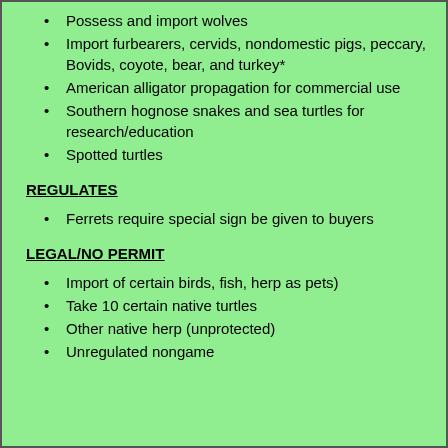Possess and import wolves
Import furbearers, cervids, nondomestic pigs, peccary, Bovids, coyote, bear, and turkey*
American alligator propagation for commercial use
Southern hognose snakes and sea turtles for research/education
Spotted turtles
REGULATES
Ferrets require special sign be given to buyers
LEGAL/NO PERMIT
Import of certain birds, fish, herp as pets)
Take 10 certain native turtles
Other native herp (unprotected)
Unregulated nongame